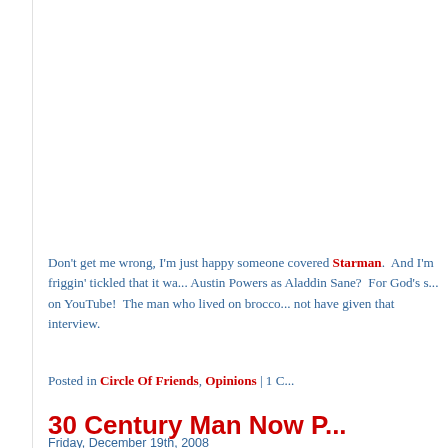Don't get me wrong, I'm just happy someone covered Starman.  And I'm friggin' tickled that it wa... Austin Powers as Aladdin Sane?  For God's s... on YouTube!  The man who lived on brocco... not have given that interview.
Posted in Circle Of Friends, Opinions | 1 C...
30 Century Man Now P...
Friday, December 19th, 2008
The biography of Scott Walker, 30 Century M...